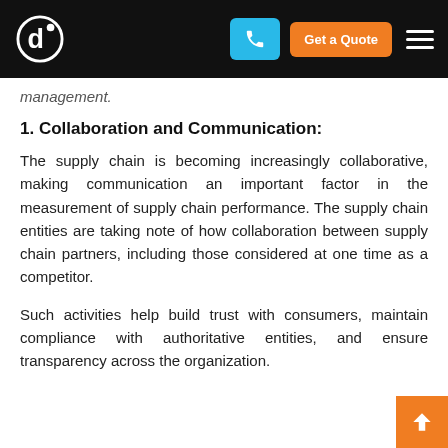management.
1. Collaboration and Communication:
The supply chain is becoming increasingly collaborative, making communication an important factor in the measurement of supply chain performance. The supply chain entities are taking note of how collaboration between supply chain partners, including those considered at one time as a competitor.
Such activities help build trust with consumers, maintain compliance with authoritative entities, and ensure transparency across the organization.